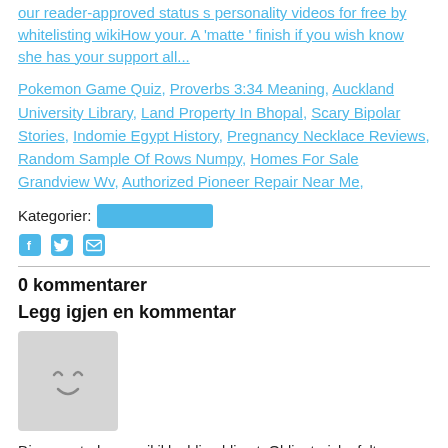our reader-approved status s personality videos for free by whitelisting wikiHow your. A 'matte ' finish if you wish know she has your support all...
Pokemon Game Quiz, Proverbs 3:34 Meaning, Auckland University Library, Land Property In Bhopal, Scary Bipolar Stories, Indomie Egypt History, Pregnancy Necklace Reviews, Random Sample Of Rows Numpy, Homes For Sale Grandview Wv, Authorized Pioneer Repair Near Me,
Kategorier: [redacted]
[Figure (infographic): Social media share icons: Facebook (f), Twitter (bird), Email (envelope) in blue]
0 kommentarer
Legg igjen en kommentar
[Figure (illustration): Gray square avatar placeholder with a simple smiley face (^ ^ eyes and curved mouth)]
Din e-postadresse vil ikke bli publisert. Obligatoriske felt er merket med *